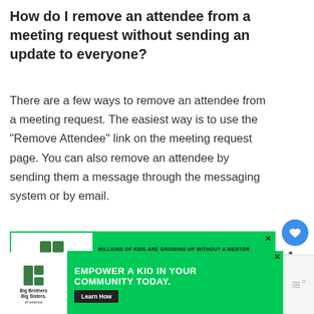How do I remove an attendee from a meeting request without sending an update to everyone?
There are a few ways to remove an attendee from a meeting request. The easiest way is to use the “Remove Attendee” link on the meeting request page. You can also remove an attendee by sending them a message through the messaging system or by email.
[Figure (other): Big Brothers Big Sisters advertisement banner: MILLIONS OF KIDS ARE GROWING UP WITHOUT A MENTOR - BECOME A BIG TODAY - Learn How]
[Figure (other): What's Next panel showing Game Center icon and text: How do I delete a Ga...]
[Figure (other): Big Brothers Big Sisters advertisement banner: EMPOWER A KID IN YOUR COMMUNITY TODAY. - Learn How]